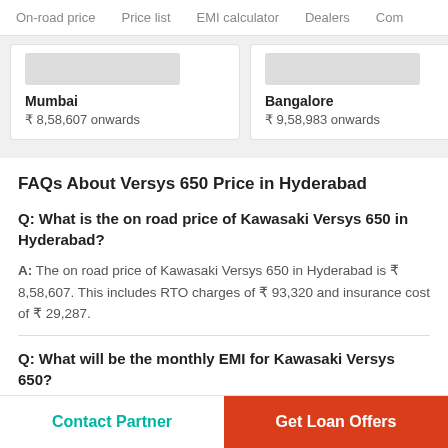On-road price   Price list   EMI calculator   Dealers   Com
Mumbai
₹ 8,58,607 onwards
Bangalore
₹ 9,58,983 onwards
FAQs About Versys 650 Price in Hyderabad
Q: What is the on road price of Kawasaki Versys 650 in Hyderabad?
A: The on road price of Kawasaki Versys 650 in Hyderabad is ₹ 8,58,607. This includes RTO charges of ₹ 93,320 and insurance cost of ₹ 29,287.
Q: What will be the monthly EMI for Kawasaki Versys 650?
Contact Partner
Get Loan Offers